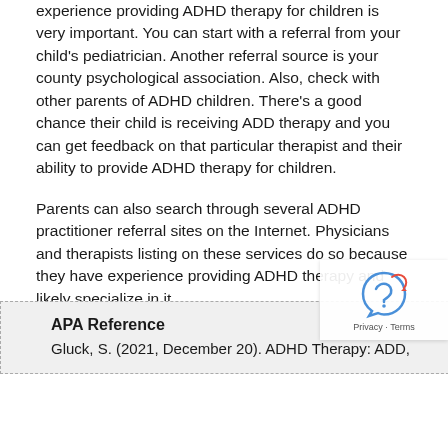experience providing ADHD therapy for children is very important. You can start with a referral from your child's pediatrician. Another referral source is your county psychological association. Also, check with other parents of ADHD children. There's a good chance their child is receiving ADD therapy and you can get feedback on that particular therapist and their ability to provide ADHD therapy for children.
Parents can also search through several ADHD practitioner referral sites on the Internet. Physicians and therapists listing on these services do so because they have experience providing ADHD therapy and likely specialize in it.
article references
APA Reference
Gluck, S. (2021, December 20). ADHD Therapy: ADD,